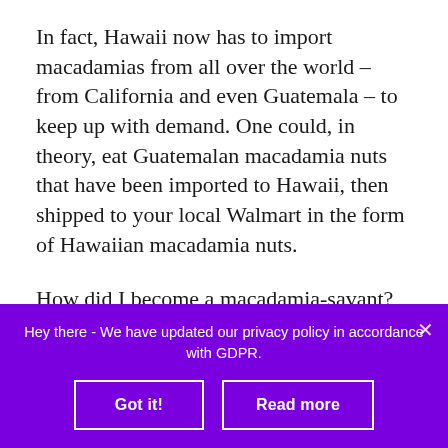In fact, Hawaii now has to import macadamias from all over the world – from California and even Guatemala – to keep up with demand. One could, in theory, eat Guatemalan macadamia nuts that have been imported to Hawaii, then shipped to your local Walmart in the form of Hawaiian macadamia nuts.
How did I become a macadamia-savant? Well, it wasn't because I went on a macadamia-induced Wikipedia binge. I learned the precious little bit I now know about macadamias after my visit last week to Valhalla Experimental Station, a macadamia farm.
Hey there - We have updated our privacy policy in accordance with GDPR.
Got it!
Read more